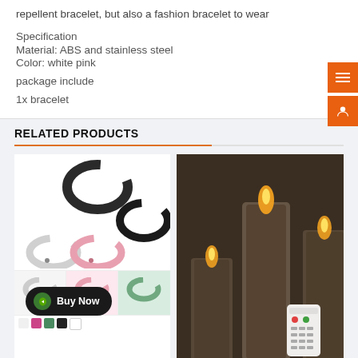repellent bracelet, but also a fashion bracelet to wear
Specification
Material: ABS and stainless steel
Color: white pink
package include
1x bracelet
RELATED PRODUCTS
[Figure (photo): Neck fan product shown in multiple colors with Buy Now button overlay]
[Figure (photo): LED candles in glass holders with remote control]